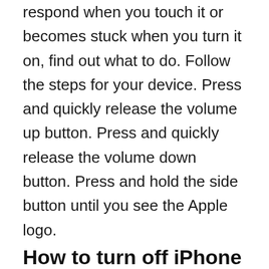respond when you touch it or becomes stuck when you turn it on, find out what to do. Follow the steps for your device. Press and quickly release the volume up button. Press and quickly release the volume down button. Press and hold the side button until you see the Apple logo.
How to turn off iPhone when frozen to save battery?
Some people might want to turn it off to save battery. We will explain the simple process of how to turn off iPhone when frozen right here – Hold down the